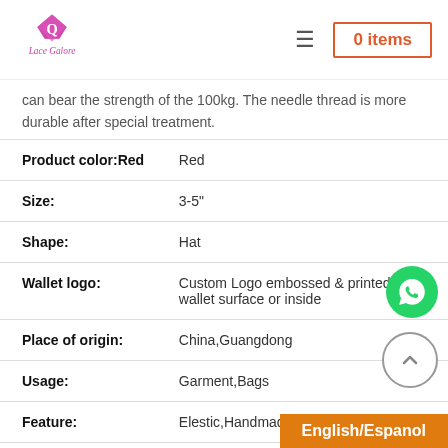Lace Galore — 0 items
can bear the strength of the 100kg. The needle thread is more durable after special treatment.
| Attribute | Value |
| --- | --- |
| Product color:Red | Red |
| Size: | 3-5" |
| Shape: | Hat |
| Wallet logo: | Custom Logo embossed & printed on the wallet surface or inside |
| Place of origin: | China,Guangdong |
| Usage: | Garment,Bags |
| Feature: | Elestic,Handmade |